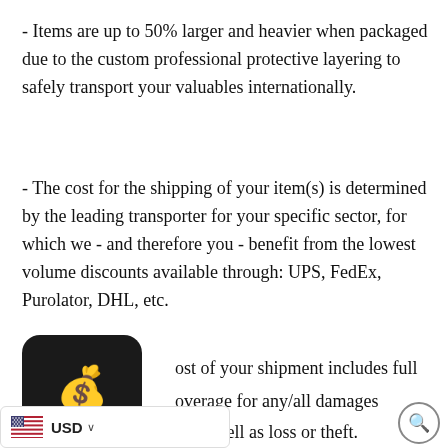- Items are up to 50% larger and heavier when packaged due to the custom professional protective layering to safely transport your valuables internationally.
- The cost for the shipping of your item(s) is determined by the leading transporter for your specific sector, for which we - and therefore you - benefit from the lowest volume discounts available through: UPS, FedEx, Purolator, DHL, etc.
[Figure (illustration): Black rounded-rectangle icon box containing a green money bag emoji]
- The cost of your shipment includes full insurance coverage for any/all damages incurred, as well as loss or theft.
[Figure (infographic): Bottom bar showing US flag icon with USD currency selector and a search magnifying glass circle button]